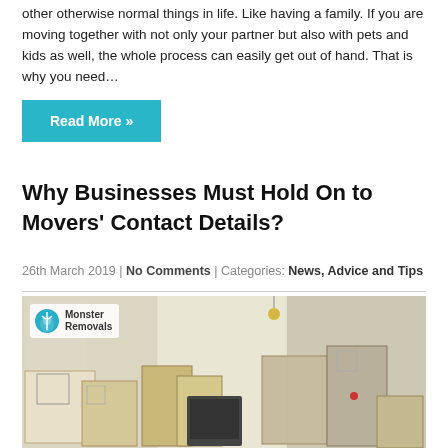other otherwise normal things in life. Like having a family. If you are moving together with not only your partner but also with pets and kids as well, the whole process can easily get out of hand. That is why you need…
Read More »
Why Businesses Must Hold On to Movers' Contact Details?
26th March 2019 | No Comments | Categories: News, Advice and Tips
[Figure (photo): Interior room filled with cardboard moving boxes and furniture, with a Monster Removals logo badge in the top left corner]